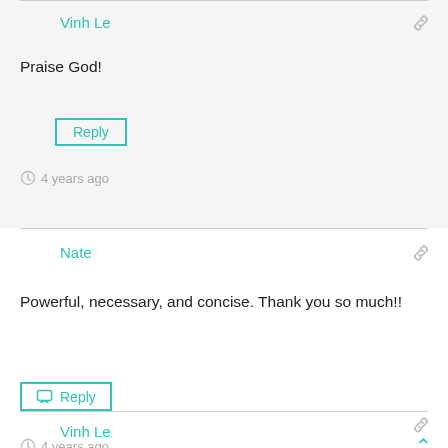Vinh Le
Praise God!
Reply
4 years ago
Nate
Powerful, necessary, and concise. Thank you so much!!
Reply
4 years ago
Vinh Le